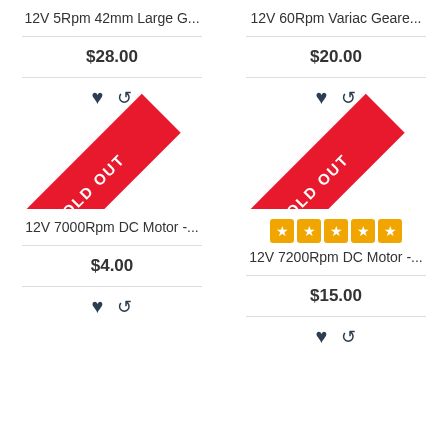12V 5Rpm 42mm Large G...
$28.00
12V 60Rpm Variac Geare...
$20.00
[Figure (illustration): SOLD OUT ribbon badge on product card 1]
[Figure (illustration): SOLD OUT ribbon badge on product card 2]
12V 7000Rpm DC Motor -...
$4.00
[Figure (illustration): 5 orange star rating badges]
12V 7200Rpm DC Motor -...
$15.00